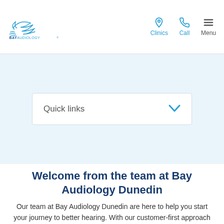[Figure (logo): Bay Audiology logo with stylized bird/wave graphic and text BAYAUDIOLOGY]
Clinics | Call | Menu
Quick links
Welcome from the team at Bay Audiology Dunedin
Our team at Bay Audiology Dunedin are here to help you start your journey to better hearing. With our customer-first approach and ongoing support and care, you can feel at ease and supported throughout